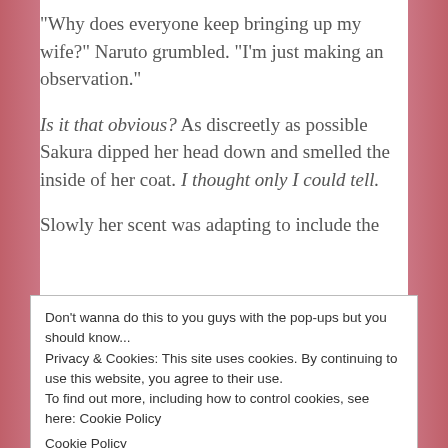“Why does everyone keep bringing up my wife?” Naruto grumbled. “I’m just making an observation.”
Is it that obvious? As discreetly as possible Sakura dipped her head down and smelled the inside of her coat. I thought only I could tell.
Slowly her scent was adapting to include the
Don’t wanna do this to you guys with the pop-ups but you should know... Privacy & Cookies: This site uses cookies. By continuing to use this website, you agree to their use. To find out more, including how to control cookies, see here: Cookie Policy Cookie Policy